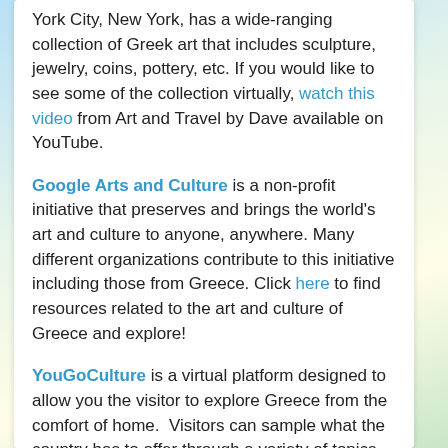York City, New York, has a wide-ranging collection of Greek art that includes sculpture, jewelry, coins, pottery, etc. If you would like to see some of the collection virtually, watch this video from Art and Travel by Dave available on YouTube.
Google Arts and Culture is a non-profit initiative that preserves and brings the world's art and culture to anyone, anywhere. Many different organizations contribute to this initiative including those from Greece. Click here to find resources related to the art and culture of Greece and explore!
YouGoCulture is a virtual platform designed to allow you the visitor to explore Greece from the comfort of home. Visitors can sample what the country has to offer through a variety of topics including destinations, arts and crafts, gastronomy, experience, and myth.